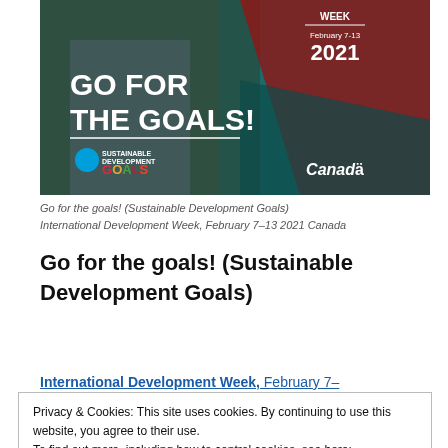[Figure (photo): Promotional banner image for International Development Week February 7-13 2021 Canada. White bold text reads 'GO FOR THE GOALS!' with UN Sustainable Development Goals logo and Canada wordmark on a dark teal/green background with a person in a plaid shirt.]
Go for the goals! (Sustainable Development Goals)
International Development Week, February 7-13 2021 Canada
Go for the goals! (Sustainable Development Goals)
International Development Week, February 7-
Privacy & Cookies: This site uses cookies. By continuing to use this website, you agree to their use.
To find out more, including how to control cookies, see here:
Cookie Policy
What do you know about Richard St. Barbe